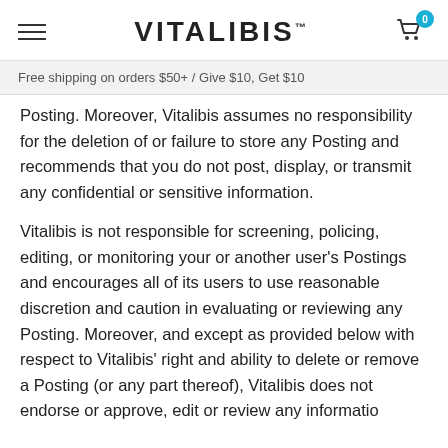VITALIBIS™
Free shipping on orders $50+ / Give $10, Get $10
Posting. Moreover, Vitalibis assumes no responsibility for the deletion of or failure to store any Posting and recommends that you do not post, display, or transmit any confidential or sensitive information.
Vitalibis is not responsible for screening, policing, editing, or monitoring your or another user's Postings and encourages all of its users to use reasonable discretion and caution in evaluating or reviewing any Posting. Moreover, and except as provided below with respect to Vitalibis' right and ability to delete or remove a Posting (or any part thereof), Vitalibis does not endorse or approve, edit or review any information